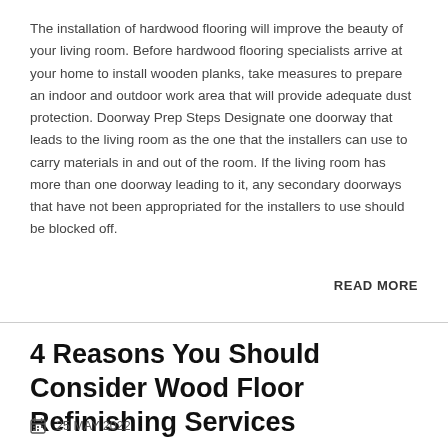The installation of hardwood flooring will improve the beauty of your living room. Before hardwood flooring specialists arrive at your home to install wooden planks, take measures to prepare an indoor and outdoor work area that will provide adequate dust protection. Doorway Prep Steps Designate one doorway that leads to the living room as the one that the installers can use to carry materials in and out of the room. If the living room has more than one doorway leading to it, any secondary doorways that have not been appropriated for the installers to use should be blocked off.
READ MORE
4 Reasons You Should Consider Wood Floor Refinishing Services
25 MAY 2022